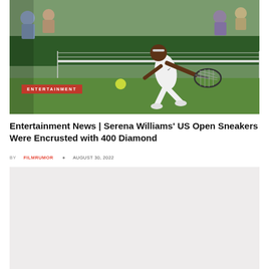[Figure (photo): Serena Williams playing tennis on a grass court, reaching forward to hit a ball, wearing white outfit, with green background and spectators]
Entertainment News | Serena Williams' US Open Sneakers Were Encrusted with 400 Diamond
BY FILMRUMOR  AUGUST 30, 2022
[Figure (photo): Second image placeholder, light gray/beige background]